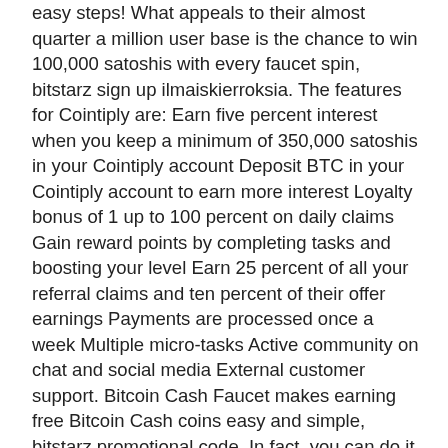easy steps! What appeals to their almost quarter a million user base is the chance to win 100,000 satoshis with every faucet spin, bitstarz sign up ilmaiskierroksia. The features for Cointiply are: Earn five percent interest when you keep a minimum of 350,000 satoshis in your Cointiply account Deposit BTC in your Cointiply account to earn more interest Loyalty bonus of 1 up to 100 percent on daily claims Gain reward points by completing tasks and boosting your level Earn 25 percent of all your referral claims and ten percent of their offer earnings Payments are processed once a week Multiple micro-tasks Active community on chat and social media External customer support. Bitcoin Cash Faucet makes earning free Bitcoin Cash coins easy and simple, bitstarz promotional code. In fact, you can do it in just three steps. C'e anche Instaforex (clicca qui per il sito ufficiale) che addirittura permettono di iniziare a partire anche da 1